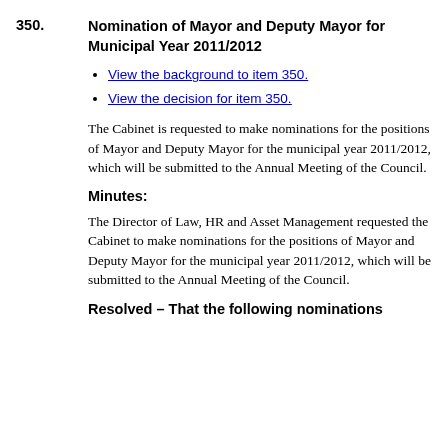approved and referred for adoption by Full Council for implementation from the 1 April 2011.
350. Nomination of Mayor and Deputy Mayor for Municipal Year 2011/2012
View the background to item 350.
View the decision for item 350.
The Cabinet is requested to make nominations for the positions of Mayor and Deputy Mayor for the municipal year 2011/2012, which will be submitted to the Annual Meeting of the Council.
Minutes:
The Director of Law, HR and Asset Management requested the Cabinet to make nominations for the positions of Mayor and Deputy Mayor for the municipal year 2011/2012, which will be submitted to the Annual Meeting of the Council.
Resolved – That the following nominations